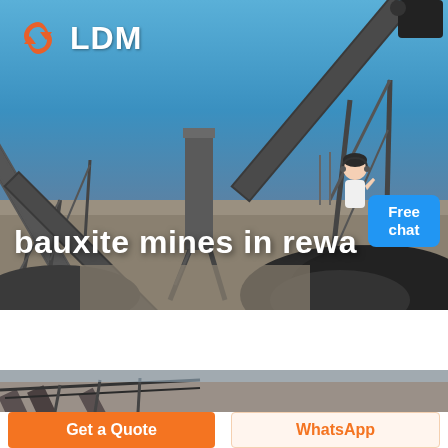[Figure (photo): Mining facility hero banner with conveyor belts and crushed stone piles under a blue sky, with LDM logo overlay and 'bauxite mines in rewa' title text, plus a Free Chat button with a customer service figure]
[Figure (photo): Partial strip of mining conveyor equipment image at bottom of page]
Get a Quote
WhatsApp